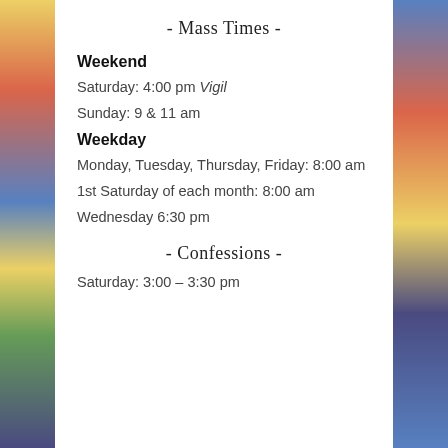- Mass Times -
Weekend
Saturday: 4:00 pm Vigil
Sunday: 9 & 11 am
Weekday
Monday, Tuesday, Thursday, Friday: 8:00 am
1st Saturday of each month: 8:00 am
Wednesday 6:30 pm
- Confessions -
Saturday: 3:00 – 3:30 pm